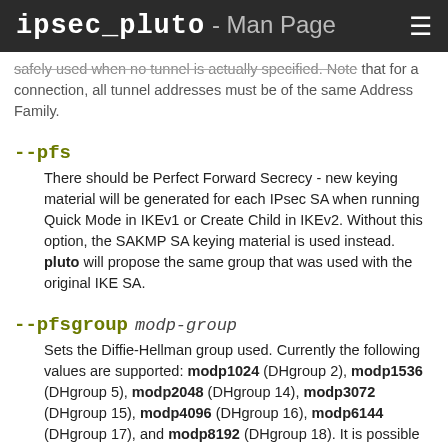ipsec_pluto - Man Page
safely used when no tunnel is actually specified. Note that for a connection, all tunnel addresses must be of the same Address Family.
--pfs

There should be Perfect Forward Secrecy - new keying material will be generated for each IPsec SA when running Quick Mode in IKEv1 or Create Child in IKEv2. Without this option, the SAKMP SA keying material is used instead. pluto will propose the same group that was used with the original IKE SA.
--pfsgroup modp-group

Sets the Diffie-Hellman group used. Currently the following values are supported: modp1024 (DHgroup 2), modp1536 (DHgroup 5), modp2048 (DHgroup 14), modp3072 (DHgroup 15), modp4096 (DHgroup 16), modp6144 (DHgroup 17), and modp8192 (DHgroup 18). It is possible to support the weak and broken modp768 (DHgroup 1), but this requires a manual recompile and is strongly discouraged.
--esp esp-algos